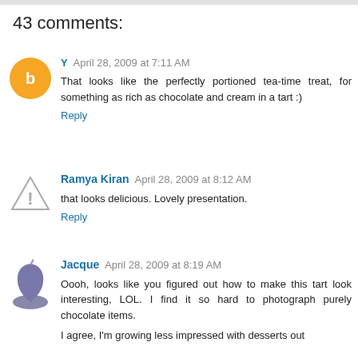43 comments:
Y  April 28, 2009 at 7:11 AM
That looks like the perfectly portioned tea-time treat, for something as rich as chocolate and cream in a tart :)
Reply
Ramya Kiran  April 28, 2009 at 8:12 AM
that looks delicious. Lovely presentation.
Reply
Jacque  April 28, 2009 at 8:19 AM
Oooh, looks like you figured out how to make this tart look interesting, LOL. I find it so hard to photograph purely chocolate items.
I agree, I'm growing less impressed with desserts out